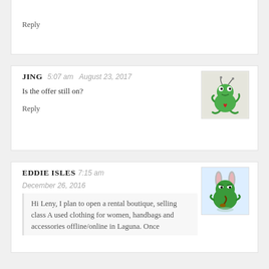Reply
JING   5:07 am   August 23, 2017
Is the offer still on?
Reply
EDDIE ISLES   7:15 am   December 26, 2016
Hi Leny, I plan to open a rental boutique, selling class A used clothing for women, handbags and accessories offline/online in Laguna. Once